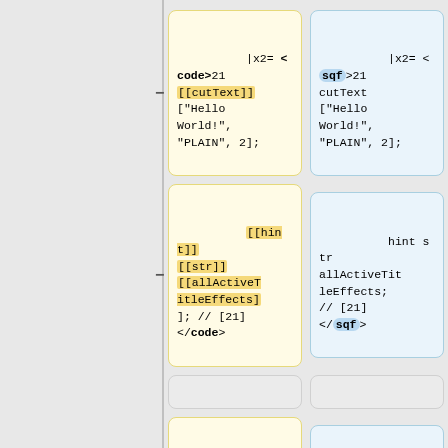[Figure (screenshot): Diff view showing code boxes: left column (yellow, removed) and right column (blue, added) with code snippets. Three row pairs shown: first pair with |x2= <code>[[cutText]]['Hello World!','PLAIN',2]; vs |x2= <sqf>21 cutText ['Hello World!','PLAIN',2];, second pair with [[hint]][[str]][[allActiveTitleEffects]]; //[21]</code> vs hint str allActiveTitleEffects; //[21] </sqf>, third pair with |x3= <code>[[cutText]]['Hello World!','PLAIN',2]; vs |x3= <sqf>cutText['Hello World!','PLAIN',2];, and partial fourth pair showing [[titleText]] vs titleText]